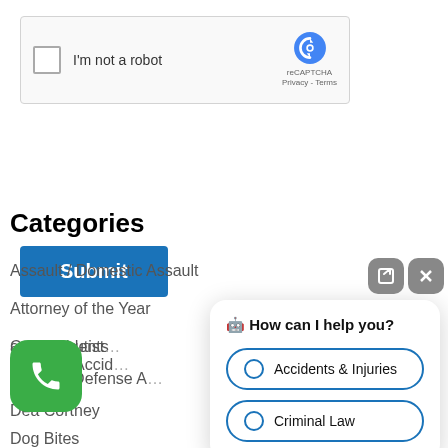[Figure (screenshot): reCAPTCHA widget with checkbox labeled 'I'm not a robot' and reCAPTCHA branding logo]
[Figure (screenshot): Blue Submit button]
Categories
Assault / Domestic Assault
Attorney of the Year
Car Accidents
andra Bautist
struction Accid
Criminal Defense A
Dea Cortney
Dog Bites
[Figure (screenshot): Green phone call button (rounded square with phone icon)]
[Figure (screenshot): Chat popup overlay with two close buttons (external link and X), a title 'How can I help you?' and two radio options: 'Accidents & Injuries' and 'Criminal Law']